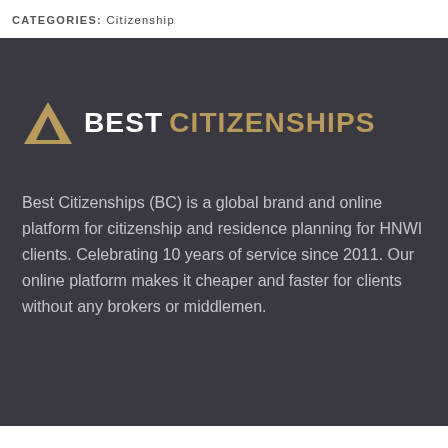CATEGORIES:  Citizenship
[Figure (logo): Best Citizenships logo with a gold triangle/mountain icon on the left, white bold text 'BEST' and gold text 'CITIZENSHIPS' on the right]
Best Citizenships (BC) is a global brand and online platform for citizenship and residence planning for HNWI clients. Celebrating 10 years of service since 2011. Our online platform makes it cheaper and faster for clients without any brokers or middlemen.